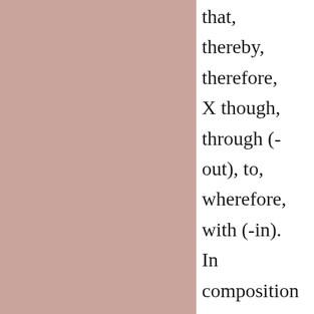that, thereby, therefore, X though, through (-out), to, wherefore, with (-in). In composition it retains the same general